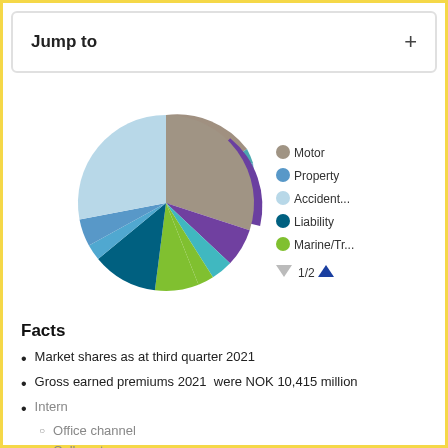Jump to  +
[Figure (pie-chart): ]
Facts
Market shares as at third quarter 2021
Gross earned premiums 2021  were NOK 10,415 million
Intern
Office channel
Call center